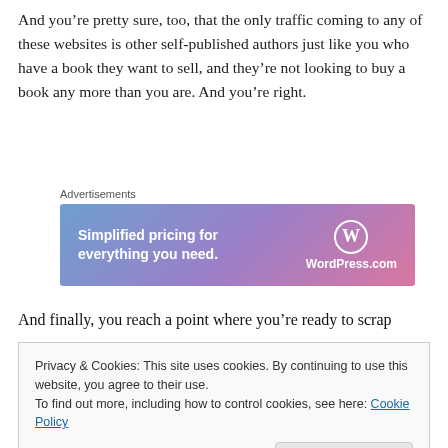And you’re pretty sure, too, that the only traffic coming to any of these websites is other self-published authors just like you who have a book they want to sell, and they’re not looking to buy a book any more than you are. And you’re right.
[Figure (other): WordPress.com advertisement banner with gradient blue-purple-pink background. Text reads: 'Simplified pricing for everything you need.' with WordPress.com logo on the right.]
And finally, you reach a point where you’re ready to scrap
Privacy & Cookies: This site uses cookies. By continuing to use this website, you agree to their use.
To find out more, including how to control cookies, see here: Cookie Policy